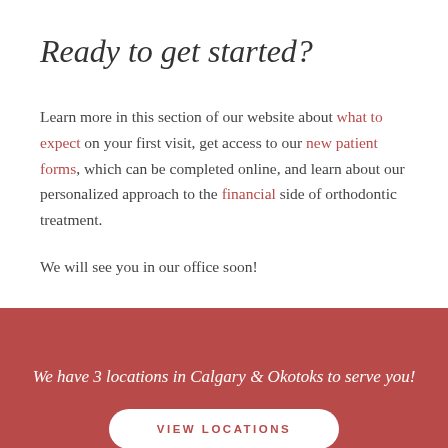Ready to get started?
Learn more in this section of our website about what to expect on your first visit, get access to our new patient forms, which can be completed online, and learn about our personalized approach to the financial side of orthodontic treatment.
We will see you in our office soon!
We have 3 locations in Calgary & Okotoks to serve you!
VIEW LOCATIONS
LOCATIONS   BOOK NOW